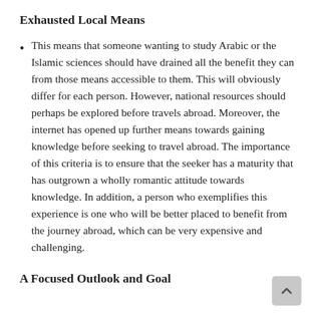Exhausted Local Means
This means that someone wanting to study Arabic or the Islamic sciences should have drained all the benefit they can from those means accessible to them. This will obviously differ for each person. However, national resources should perhaps be explored before travels abroad. Moreover, the internet has opened up further means towards gaining knowledge before seeking to travel abroad. The importance of this criteria is to ensure that the seeker has a maturity that has outgrown a wholly romantic attitude towards knowledge. In addition, a person who exemplifies this experience is one who will be better placed to benefit from the journey abroad, which can be very expensive and challenging.
A Focused Outlook and Goal